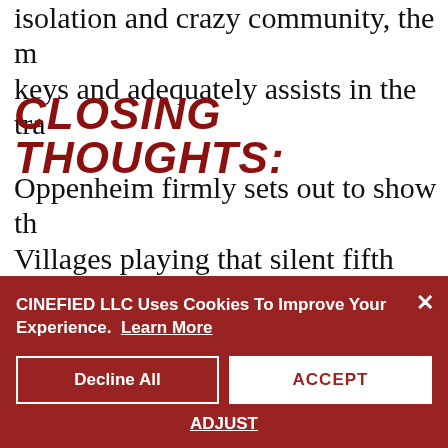isolation and crazy community, the m keys and adequately assists in the tra
CLOSING THOUGHTS:
Oppenheim firmly sets out to show th Villages playing that silent fifth man. A residents, the allure of this weird setti that goes unheeded. This equates to t
CINEFIED LLC Uses Cookies To Improve Your Experience.  Learn More
Decline All
ACCEPT
ADJUST